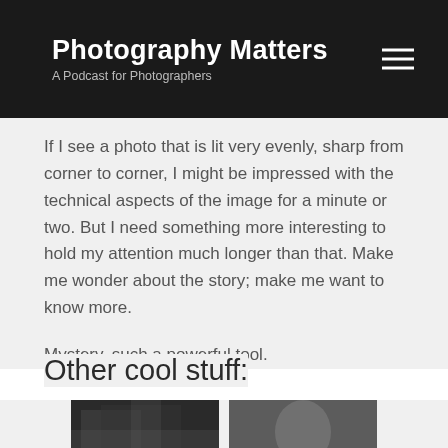Photography Matters — A Podcast for Photographers
If I see a photo that is lit very evenly, sharp from corner to corner, I might be impressed with the technical aspects of the image for a minute or two. But I need something more interesting to hold my attention much longer than that. Make me wonder about the story; make me want to know more.
Mystery, such a powerful tool.
Other cool stuff:
[Figure (photo): Black and white photo thumbnail on the left]
[Figure (photo): Black and white portrait photo thumbnail on the right]